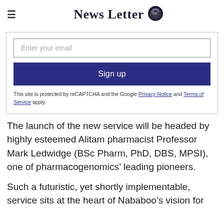News Letter
Enter your email
Sign up
This site is protected by reCAPTCHA and the Google Privacy Notice and Terms of Service apply.
The launch of the new service will be headed by highly esteemed Alitam pharmacist Professor Mark Ledwidge (BSc Pharm, PhD, DBS, MPSI), one of pharmacogenomics’ leading pioneers.
Such a futuristic, yet shortly implementable, service sits at the heart of Nababoo’s vision for